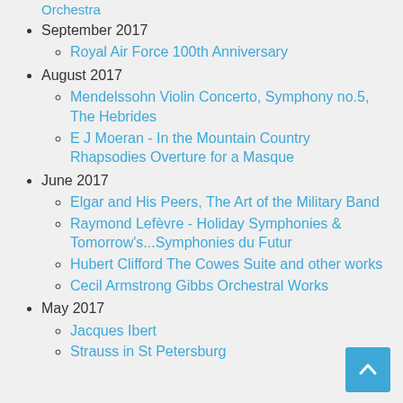Orchestra
September 2017
Royal Air Force 100th Anniversary
August 2017
Mendelssohn Violin Concerto, Symphony no.5, The Hebrides
E J Moeran - In the Mountain Country Rhapsodies Overture for a Masque
June 2017
Elgar and His Peers, The Art of the Military Band
Raymond Lefèvre - Holiday Symphonies & Tomorrow's...Symphonies du Futur
Hubert Clifford The Cowes Suite and other works
Cecil Armstrong Gibbs Orchestral Works
May 2017
Jacques Ibert
Strauss in St Petersburg